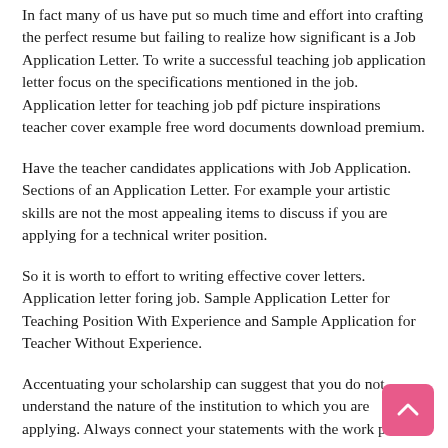In fact many of us have put so much time and effort into crafting the perfect resume but failing to realize how significant is a Job Application Letter. To write a successful teaching job application letter focus on the specifications mentioned in the job. Application letter for teaching job pdf picture inspirations teacher cover example free word documents download premium.
Have the teacher candidates applications with Job Application. Sections of an Application Letter. For example your artistic skills are not the most appealing items to discuss if you are applying for a technical writer position.
So it is worth to effort to writing effective cover letters. Application letter foring job. Sample Application Letter for Teaching Position With Experience and Sample Application for Teacher Without Experience.
Accentuating your scholarship can suggest that you do not understand the nature of the institution to which you are applying. Always connect your statements with the work post